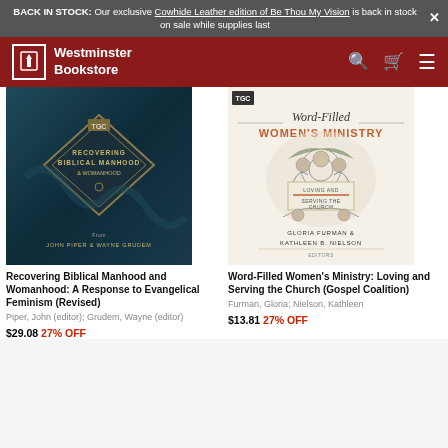BACK IN STOCK: Our exclusive Cowhide Leather edition of Be Thou My Vision is back in stock on sale while supplies last
Westminster Bookstore
[Figure (photo): Book cover: Recovering Biblical Manhood & Womanhood, dark teal background with diamond shape, John Piper & Wayne Grudem]
[Figure (photo): Book cover: Word-Filled Women's Ministry, cream/white with floral botanical illustration, Gloria Furman & Kathleen B. Nielson]
Recovering Biblical Manhood and Womanhood: A Response to Evangelical Feminism (Revised)
Piper, John (editor); Grudem, Wayne (editor)
$29.08 27% OFF
Word-Filled Women's Ministry: Loving and Serving the Church (Gospel Coalition)
Furman, Gloria; Nielson, Kathleen
$13.81 27% OFF